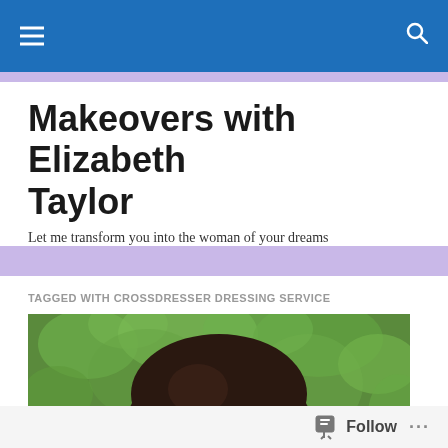Navigation bar with hamburger menu and search icon
Makeovers with Elizabeth Taylor
Let me transform you into the woman of your dreams
TAGGED WITH CROSSDRESSER DRESSING SERVICE
[Figure (photo): Person with dark brown bob-cut hair looking upward, against a blurred green foliage background]
Follow ...